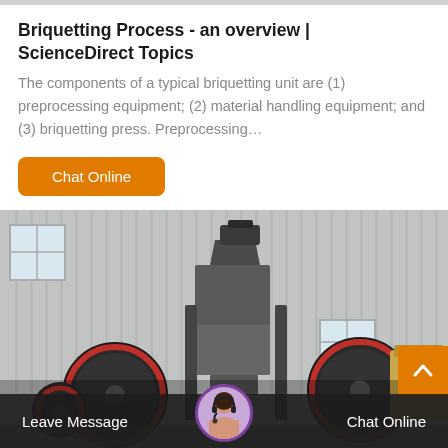Briquetting Process - an overview | ScienceDirect Topics
The components of a typical briquetting unit are (1) preprocessing equipment; (2) material handling equipment; and (3) briquetting press. Preprocessing…
[Figure (screenshot): Orange 'Chat Online' button]
[Figure (photo): Industrial machinery including briquetting press equipment in a factory/warehouse setting with corrugated metal walls. Large cylindrical rollers visible in foreground, industrial machine with motor in background.]
Leave Message    Chat Online